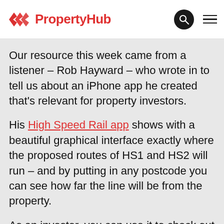PropertyHub
Our resource this week came from a listener – Rob Hayward – who wrote in to tell us about an iPhone app he created that's relevant for property investors.
His High Speed Rail app shows with a beautiful graphical interface exactly where the proposed routes of HS1 and HS2 will run – and by putting in any postcode you can see how far the line will be from the property.
As an investor, you can use it to check out areas to avoid, or maybe areas of opportunity depending on your strategy.